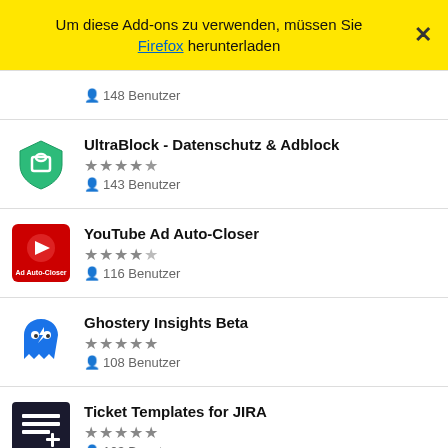Um diese Add-ons zu verwenden, müssen Sie Firefox herunterladen
148 Benutzer
UltraBlock - Datenschutz & Adblock ★★★★☆ 143 Benutzer
YouTube Ad Auto-Closer ★★★★½ 116 Benutzer
Ghostery Insights Beta ★★★★★ 108 Benutzer
Ticket Templates for JIRA ★★★★★ 103 Benutzer
Fair AdBlocker ★★★★★